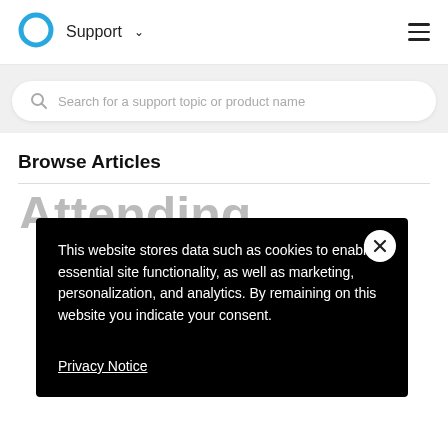[Figure (logo): Cortana/Microsoft circular logo in blue outline]
Support ∨
Search for a support topic or product name
Browse Articles
This website stores data such as cookies to enable essential site functionality, as well as marketing, personalization, and analytics. By remaining on this website you indicate your consent.
Privacy Notice